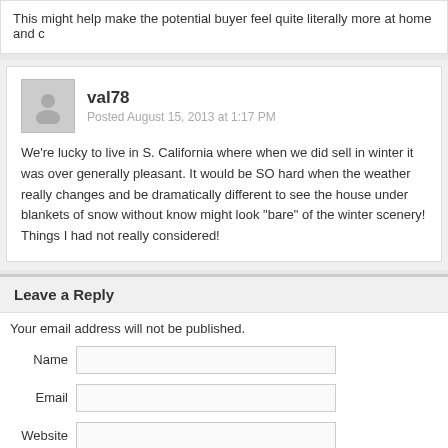This might help make the potential buyer feel quite literally more at home and c
val78
Posted August 15, 2013 at 1:17 PM
We're lucky to live in S. California where when we did sell in winter it was over generally pleasant. It would be SO hard when the weather really changes and be dramatically different to see the house under blankets of snow without know might look "bare" of the winter scenery! Things I had not really considered!
Leave a Reply
Your email address will not be published.
Name
Email
Website